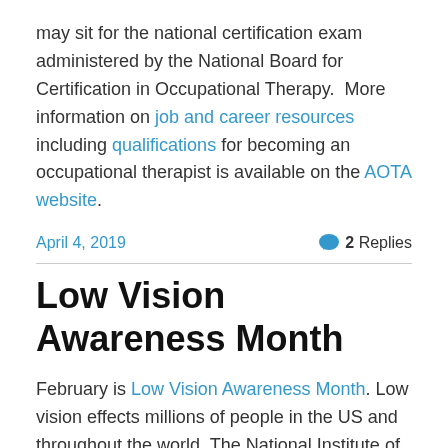may sit for the national certification exam administered by the National Board for Certification in Occupational Therapy.  More information on job and career resources including qualifications for becoming an occupational therapist is available on the AOTA website.
April 4, 2019    2 Replies
Low Vision Awareness Month
February is Low Vision Awareness Month. Low vision effects millions of people in the US and throughout the world. The National Institute of Health's National Eye Institute (NEI) defines low vision as a visual impairment that is not correctable by standard glasses, contact lenses, medicine, or surgery, but it interferes with everyday